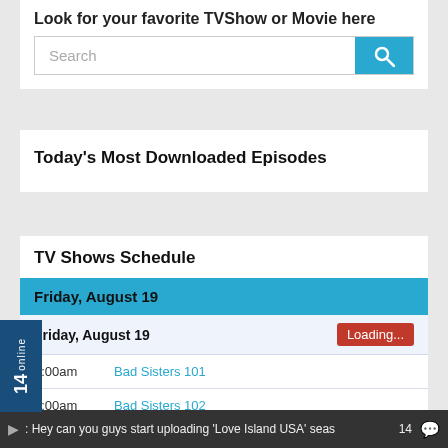Look for your favorite TVShow or Movie here
Search
Today's Most Downloaded Episodes
TV Shows Schedule
| Date/Time | Show |
| --- | --- |
| Friday, August 19 | Loading... |
| 2:00am | Bad Sisters 101 |
| 2:00am | Bad Sisters 102 |
| 2:00am | Echoes |
| Sunday, August 21 |  |
| 7:00pm | Power Book III: Raising Kanan 2 |
| 8:00pm | Chesapeake Shores 602 |
: Hey can you guys start uploading 'Love Island USA' seas  14